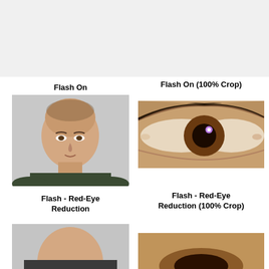[Figure (photo): Gray/white blank top section background]
Flash On
Flash On (100% Crop)
[Figure (photo): Portrait photo of a bald man in a dark shirt against a gray background, taken with flash on]
[Figure (photo): Close-up 100% crop of a human eye with a bright flash reflection/catchlight in the brown iris]
Flash - Red-Eye Reduction
Flash - Red-Eye Reduction (100% Crop)
[Figure (photo): Portrait photo of a bald man with red-eye reduction flash, partially visible - head/shoulders crop]
[Figure (photo): Close-up 100% crop of a human eye taken with red-eye reduction flash, partially visible]